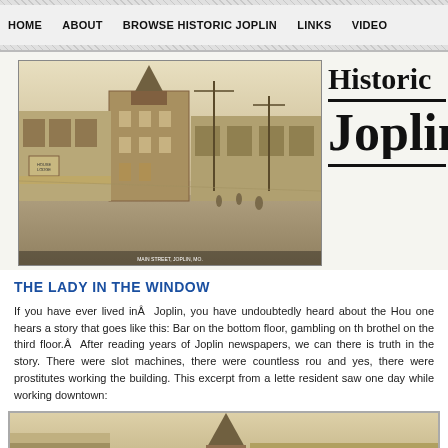HOME   ABOUT   BROWSE HISTORIC JOPLIN   LINKS   VIDEO
[Figure (photo): Sepia-toned historical photograph of a Joplin street scene showing early 20th century buildings, a prominent corner building with a turret, storefronts, utility poles, and people on the street.]
Historic Joplin
THE LADY IN THE WINDOW
If you have ever lived inÂ  Joplin, you have undoubtedly heard about the Hou one hears a story that goes like this: Bar on the bottom floor, gambling on th brothel on the third floor.Â  After reading years of Joplin newspapers, we can there is truth in the story. There were slot machines, there were countless rou and yes, there were prostitutes working the building. This excerpt from a lette resident saw one day while working downtown:
[Figure (photo): Sepia-toned historical photograph showing the top of a building with a conical turret/spire, partial view of early 20th century architecture.]